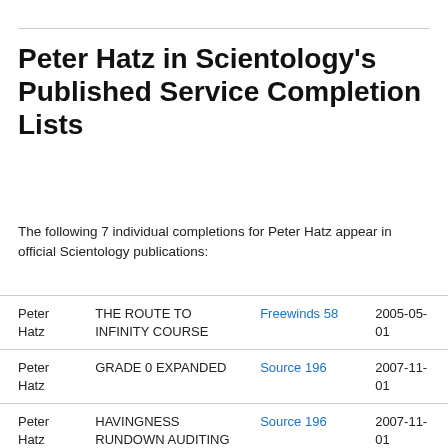Peter Hatz in Scientology's Published Service Completion Lists
The following 7 individual completions for Peter Hatz appear in official Scientology publications:
| Name | Course | Publication | Date |
| --- | --- | --- | --- |
| Peter Hatz | THE ROUTE TO INFINITY COURSE | Freewinds 58 | 2005-05-01 |
| Peter Hatz | GRADE 0 EXPANDED | Source 196 | 2007-11-01 |
| Peter Hatz | HAVINGNESS RUNDOWN AUDITING | Source 196 | 2007-11-01 |
| Peter Hatz | DYNAMIC SORT-OUT ASSESSMENT | Source 196 | 2007-11-01 |
| Peter Hatz | EXPANDED GRADE I | Advance UK | 2009-06- |